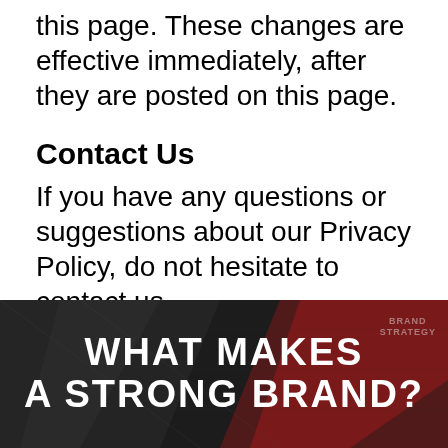this page. These changes are effective immediately, after they are posted on this page.
Contact Us
If you have any questions or suggestions about our Privacy Policy, do not hesitate to contact us.
[Figure (photo): Dark background banner with overlapping brand-related shapes and text reading WHAT MAKES A STRONG BRAND?]